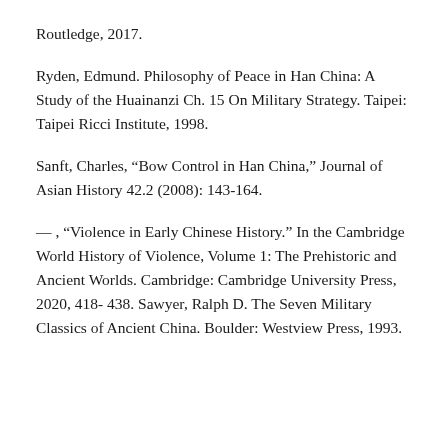Routledge, 2017.
Ryden, Edmund. Philosophy of Peace in Han China: A Study of the Huainanzi Ch. 15 On Military Strategy. Taipei: Taipei Ricci Institute, 1998.
Sanft, Charles, “Bow Control in Han China,” Journal of Asian History 42.2 (2008): 143-164.
— , “Violence in Early Chinese History.” In the Cambridge World History of Violence, Volume 1: The Prehistoric and Ancient Worlds. Cambridge: Cambridge University Press, 2020, 418- 438. Sawyer, Ralph D. The Seven Military Classics of Ancient China. Boulder: Westview Press, 1993.